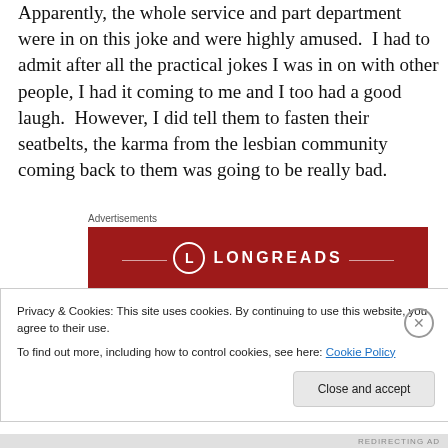Apparently, the whole service and part department were in on this joke and were highly amused.  I had to admit after all the practical jokes I was in on with other people, I had it coming to me and I too had a good laugh.  However, I did tell them to fasten their seatbelts, the karma from the lesbian community coming back to them was going to be really bad.
Advertisements
[Figure (logo): Longreads advertisement banner — red background, circular L logo, LONGREADS text in white, decorative horizontal lines, partial tagline text at bottom]
Privacy & Cookies: This site uses cookies. By continuing to use this website, you agree to their use.
To find out more, including how to control cookies, see here: Cookie Policy
Close and accept